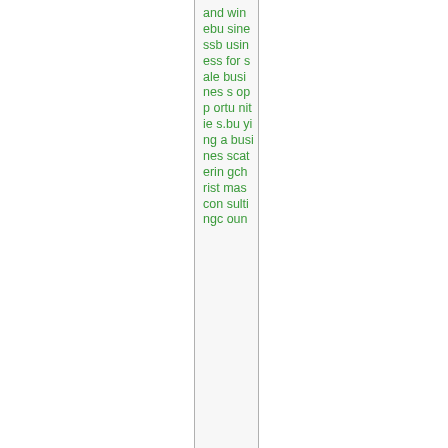and win ebusiness business for sale business opportunities.buying a business scattering christmas consulting coun